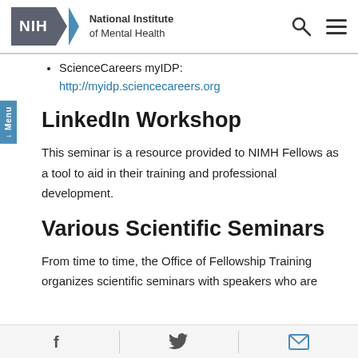NIH National Institute of Mental Health
ScienceCareers myIDP: http://myidp.sciencecareers.org
LinkedIn Workshop
This seminar is a resource provided to NIMH Fellows as a tool to aid in their training and professional development.
Various Scientific Seminars
From time to time, the Office of Fellowship Training organizes scientific seminars with speakers who are
f  (twitter bird)  (email icon)